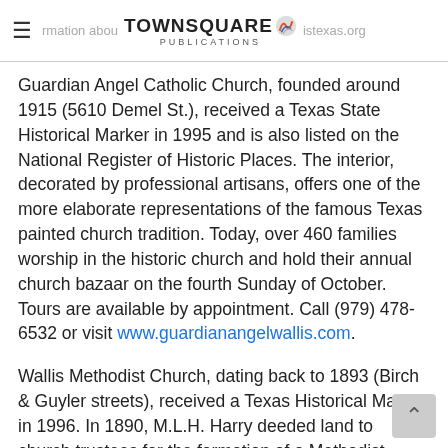TOWNSQUARE PUBLICATIONS — formation about ... istexas.org
Guardian Angel Catholic Church, founded around 1915 (5610 Demel St.), received a Texas State Historical Marker in 1995 and is also listed on the National Register of Historic Places. The interior, decorated by professional artisans, offers one of the more elaborate representations of the famous Texas painted church tradition. Today, over 460 families worship in the historic church and hold their annual church bazaar on the fourth Sunday of October. Tours are available by appointment. Call (979) 478-6532 or visit www.guardianangelwallis.com.
Wallis Methodist Church, dating back to 1893 (Birch & Guyler streets), received a Texas Historical Marker in 1996. In 1890, M.L.H. Harry deeded land to church trustees for the formation of a Methodist Church in